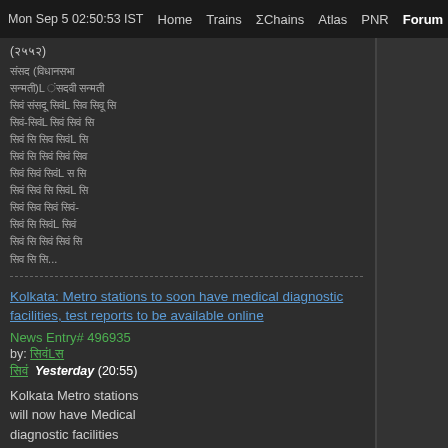Mon Sep 5 02:50:53 IST  Home  Trains  ΣChains  Atlas  PNR  Forum  Quiz F
(२५५२)
[Hindi text content - forum post in Hindi script]
Kolkata: Metro stations to soon have medical diagnostic facilities, test reports to be available online
News Entry# 496935
by: [username]
[username]  Yesterday (20:55)
Kolkata Metro stations will now have Medical diagnostic facilities available...